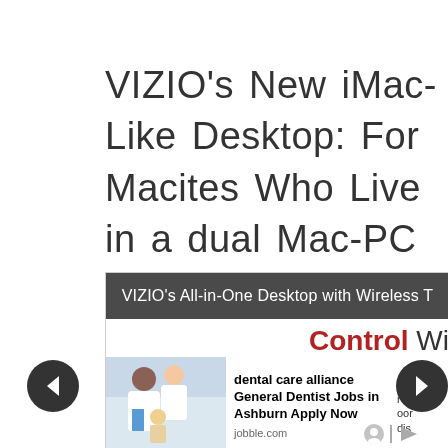VIZIO's New iMac-Like Desktop: For Macites Who Live in a dual Mac-PC Environment
[Figure (screenshot): Screenshot of a webpage showing VIZIO's All-in-One Desktop with Wireless T, a Control Wi advertisement, a dental care alliance job listing for General Dentist Jobs in Ashburn from jobble.com, with navigation arrows and an ad image of a dentist.]